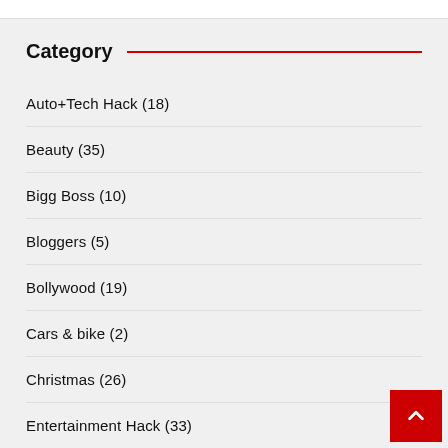Category
Auto+Tech Hack (18)
Beauty (35)
Bigg Boss (10)
Bloggers (5)
Bollywood (19)
Cars & bike (2)
Christmas (26)
Entertainment Hack (33)